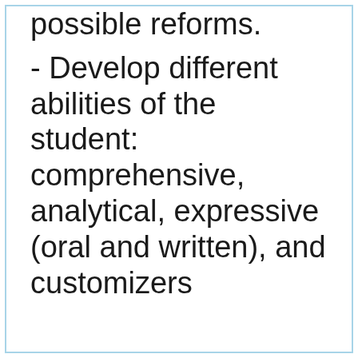possible reforms.
- Develop different abilities of the student: comprehensive, analytical, expressive (oral and written), and customizers